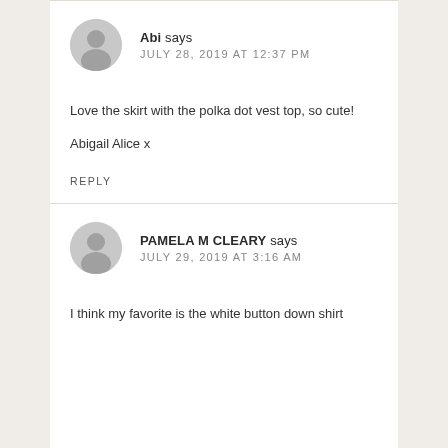Abi says
JULY 28, 2019 AT 12:37 PM
Love the skirt with the polka dot vest top, so cute!

Abigail Alice x
REPLY
PAMELA M CLEARY says
JULY 29, 2019 AT 3:16 AM
I think my favorite is the white button down shirt